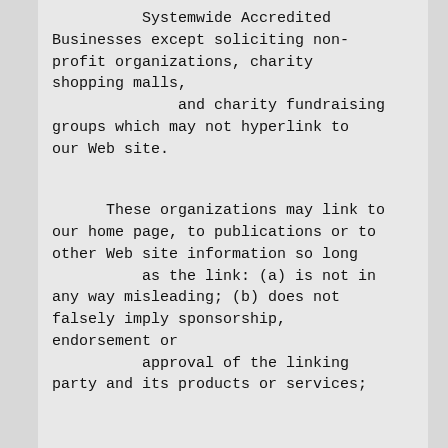Systemwide Accredited Businesses except soliciting non-profit organizations, charity shopping malls, and charity fundraising groups which may not hyperlink to our Web site.
These organizations may link to our home page, to publications or to other Web site information so long as the link: (a) is not in any way misleading; (b) does not falsely imply sponsorship, endorsement or approval of the linking party and its products or services;